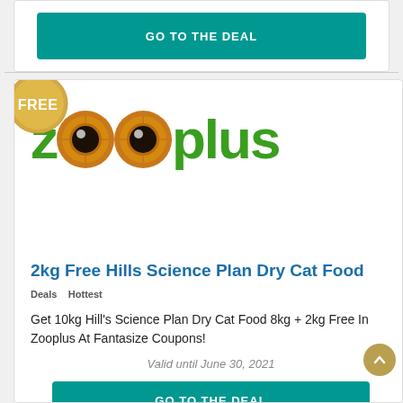GO TO THE DEAL
[Figure (logo): Zooplus logo with animal eye replacing letters 'oo', green text]
2kg Free Hills Science Plan Dry Cat Food
Deals  Hottest
Get 10kg Hill's Science Plan Dry Cat Food 8kg + 2kg Free In Zooplus At Fantasize Coupons!
Valid until June 30, 2021
GO TO THE DEAL